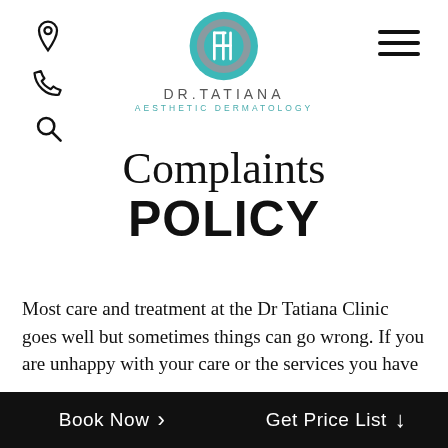[Figure (logo): Dr. Tatiana Aesthetic Dermatology logo — teal circular emblem with stylized H/D monogram, text DR.TATIANA above AESTHETIC DERMATOLOGY]
Complaints POLICY
Most care and treatment at the Dr Tatiana Clinic goes well but sometimes things can go wrong. If you are unhappy with your care or the services you have
Book Now >   Get Price List ↓